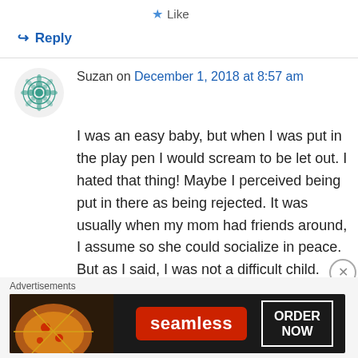★ Like
↪ Reply
Suzan on December 1, 2018 at 8:57 am
I was an easy baby, but when I was put in the play pen I would scream to be let out. I hated that thing! Maybe I perceived being put in there as being rejected. It was usually when my mom had friends around, I assume so she could socialize in peace. But as I said, I was not a difficult child.
★ Like
Advertisements
[Figure (screenshot): Seamless food delivery advertisement banner with pizza image, red Seamless logo, and ORDER NOW button]